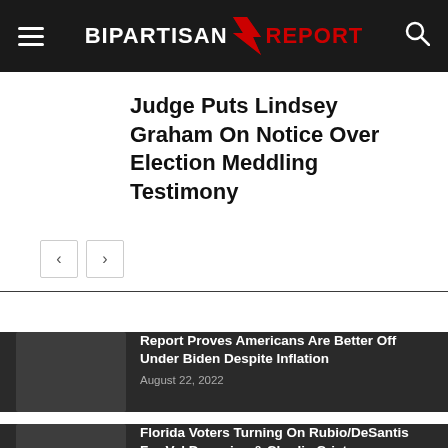Bipartisan Report
Judge Puts Lindsey Graham On Notice Over Election Meddling Testimony
EDITOR PICKS
Report Proves Americans Are Better Off Under Biden Despite Inflation
August 22, 2022
Florida Voters Turning On Rubio/DeSantis For Val Demmigs & Charlie Crist
August 22, 2022